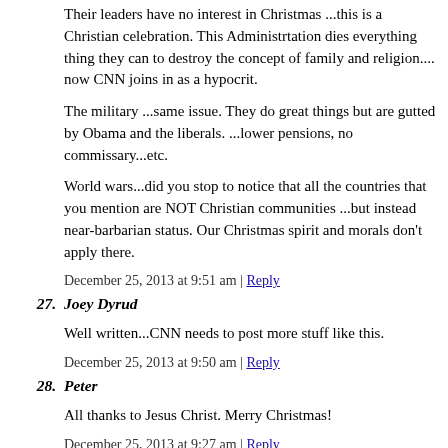Their leaders have no interest in Christmas ...this is a Christian celebration. This Administrtation dies everything thing they can to destroy the concept of family and religion.... now CNN joins in as a hypocrit.
The military ...same issue. They do great things but are gutted by Obama and the liberals. ...lower pensions, no commissary...etc.
World wars...did you stop to notice that all the countries that you mention are NOT Christian communities ...but instead near-barbarian status. Our Christmas spirit and morals don't apply there.
December 25, 2013 at 9:51 am | Reply
27. Joey Dyrud
Well written...CNN needs to post more stuff like this.
December 25, 2013 at 9:50 am | Reply
28. Peter
All thanks to Jesus Christ. Merry Christmas!
December 25, 2013 at 9:27 am | Reply
29. Hannah